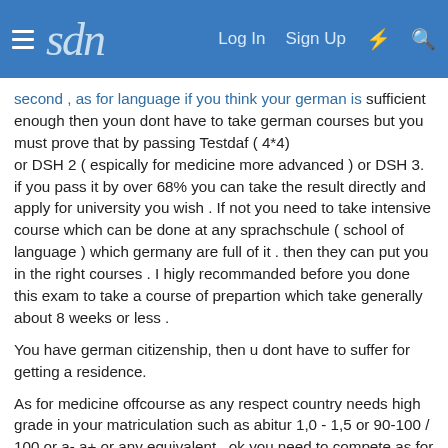sdn | Log In | Sign Up
second , as for language if you think your german is sufficient enough then youn dont have to take german courses but you must prove that by passing Testdaf ( 4*4)
or DSH 2 ( espically for medicine more advanced ) or DSH 3.
if you pass it by over 68% you can take the result directly and apply for university you wish . If not you need to take intensive course which can be done at any sprachschule ( school of language ) which germany are full of it . then they can put you in the right courses . I higly recommanded before you done this exam to take a course of prepartion which take generally about 8 weeks or less .
You have german citizenship, then u dont have to suffer for getting a residence.
As for medicine offcourse as any respect country needs high grade in your matriculation such as abitur 1,0 - 1,5 or 90-100 / 100 or a- a+ or any equivalent , ok you need to compete as for foreigners the places is restricted but dont worry i think there are more than 25 university of medicine faculties .
If you want to apply as a german you need to go to ZVS its for germans and other ou citizons if you want to apply as south afoican i think you should chook